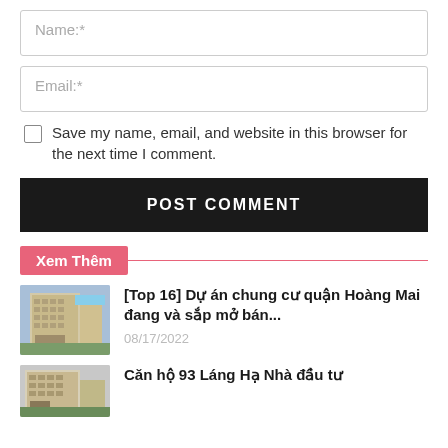Name:*
Email:*
Save my name, email, and website in this browser for the next time I comment.
POST COMMENT
Xem Thêm
[Top 16] Dự án chung cư quận Hoàng Mai đang và sắp mở bán...
08/17/2022
Căn hộ 93 Láng Hạ Nhà đầu tư